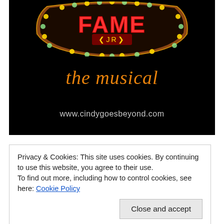[Figure (illustration): FAME JR the musical marquee logo on black background with orange marquee lights and circus-style lettering, with text 'the musical' in orange script and website www.cindygoesbeyond.com at the bottom]
Privacy & Cookies: This site uses cookies. By continuing to use this website, you agree to their use.
To find out more, including how to control cookies, see here: Cookie Policy
Close and accept
commit to four years of grueling artistic and academic